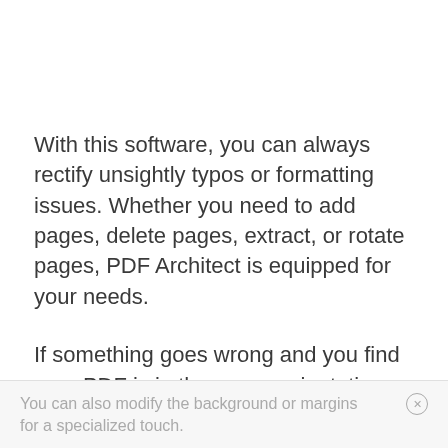With this software, you can always rectify unsightly typos or formatting issues. Whether you need to add pages, delete pages, extract, or rotate pages, PDF Architect is equipped for your needs.
If something goes wrong and you find your PDF is in the wrong orientation, you can split or merge documents to your satisfaction.
You can also modify the background or margins for a specialized touch.